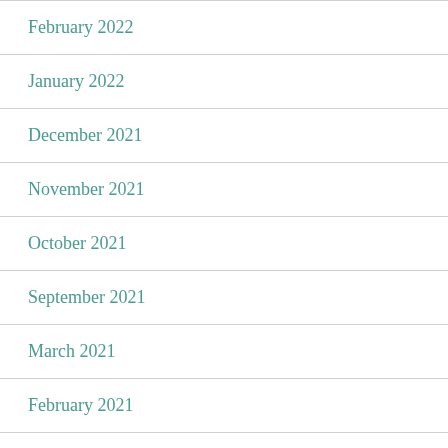February 2022
January 2022
December 2021
November 2021
October 2021
September 2021
March 2021
February 2021
January 2021
October 2020